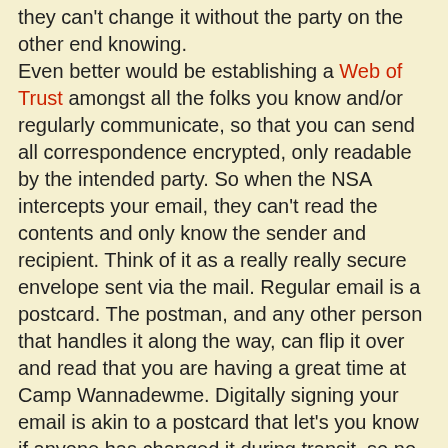they can't change it without the party on the other end knowing.
Even better would be establishing a Web of Trust amongst all the folks you know and/or regularly communicate, so that you can send all correspondence encrypted, only readable by the intended party. So when the NSA intercepts your email, they can't read the contents and only know the sender and recipient. Think of it as a really really secure envelope sent via the mail. Regular email is a postcard. The postman, and any other person that handles it along the way, can flip it over and read that you are having a great time at Camp Wannadewme. Digitally signing your email is akin to a postcard that let's you know if anyone has changed it during transit, so no one can forge a "funny" p.s. at the end that will get you grounded for the rest of the summer when you return from camp.
GPG encryption is along the lines of a super-duty regular envelope, in that the postman and others know the delivery address and the return address, i.e. the sender and recipient, but can't read the contents without tearing the envelope, a feat that is incredibly difficult to do so long as you keep your private key private.
Of course, there are ways to anonymize the sender and